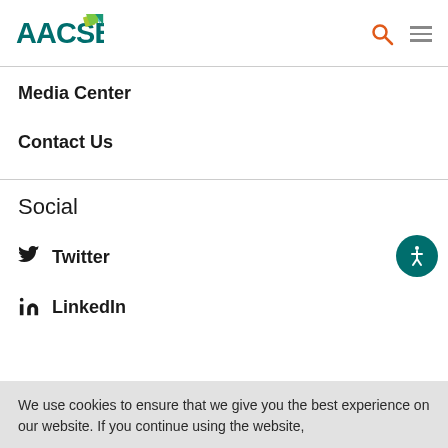AACSB
Media Center
Contact Us
Social
Twitter
LinkedIn
We use cookies to ensure that we give you the best experience on our website. If you continue using the website,